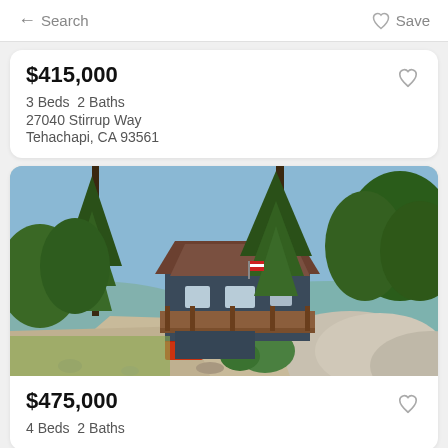← Search   ♡ Save
$415,000
3 Beds  2 Baths
27040 Stirrup Way
Tehachapi, CA 93561
[Figure (photo): Exterior photo of a blue house with brown roof, wooden deck, tall pine trees, large boulders and gravel driveway in foreground, sunny day]
$475,000
4 Beds  2 Baths